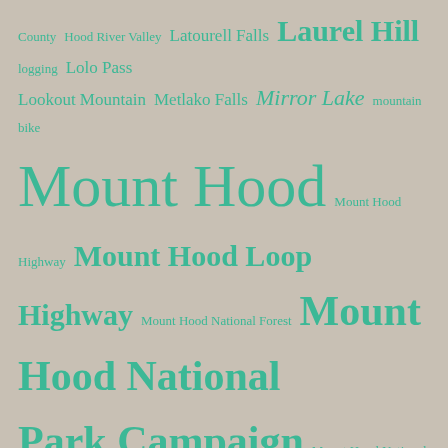[Figure (infographic): Tag cloud of terms related to Mount Hood, Oregon. Terms appear in varying font sizes in teal/green color on a beige/tan background. Larger terms indicate higher frequency. Terms include: County, Hood River Valley, Latourell Falls, Laurel Hill, logging, Lolo Pass, Lookout Mountain, Metlako Falls, Mirror Lake, mountain bike, Mount Hood, Mount Hood Highway, Mount Hood Loop Highway, Mount Hood National Forest, Mount Hood National Park Campaign, Mount Hood National Recreation Area, Multnomah Falls, ODOT, Old Vista Ridge Trail, Oneonta Gorge, Owl Point, Pacific Crest Trail, Palmer Glacier, parking, poison oak, Punch Bowl Falls, Rhododendron, Salmon River, Samuel Lancaster, Shepperd's Dell, Surveyors Ridge, Tamanawas Falls, Timberline Lodge, Timberline Trail, TKO, Trailkeepers of Oregon, U.S. Forest Service, US 26, USFS, Wahclella Falls, Warren Creek, Warrendale, Warren Falls, Western larch, West Fork Hood River, White River, White River Falls, White River Glacier, Wy'East Blog]